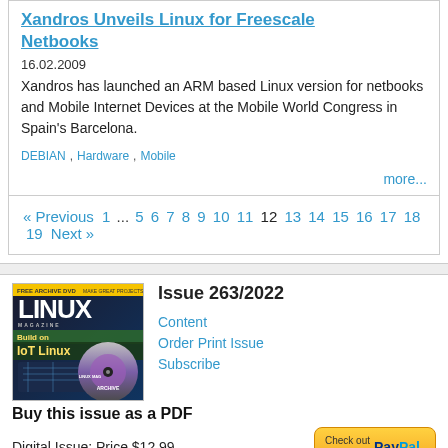Xandros Unveils Linux for Freescale Netbooks
16.02.2009
Xandros has launched an ARM based Linux version for netbooks and Mobile Internet Devices at the Mobile World Congress in Spain's Barcelona.
DEBIAN , Hardware , Mobile
more...
« Previous 1 ... 5 6 7 8 9 10 11 12 13 14 15 16 17 18 19 Next »
Issue 263/2022
[Figure (photo): Linux Magazine Issue 263/2022 cover with DVD]
Content
Order Print Issue
Subscribe
Buy this issue as a PDF
Digital Issue: Price $12.99